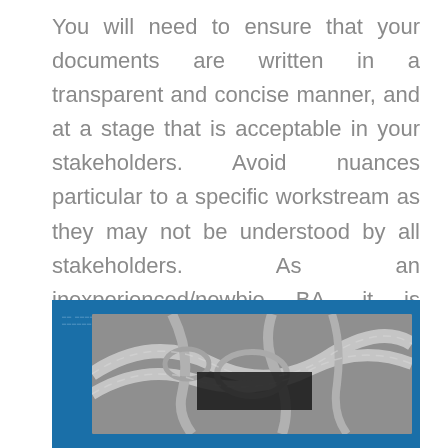You will need to ensure that your documents are written in a transparent and concise manner, and at a stage that is acceptable in your stakeholders. Avoid nuances particular to a specific workstream as they may not be understood by all stakeholders. As an inexperienced/newbie BA, it is unlikely that you should have expertise writing necessities documentation, nevertheless, robust writing expertise are a wonderful starting point. Customer service and technical help professionals are on the telephone with customers serving to them resolve points and clear up problems.
[Figure (photo): A blue-background panel containing a black and white aerial photograph of a highway interchange/road network, with faint schematic text overlays on the blue borders.]